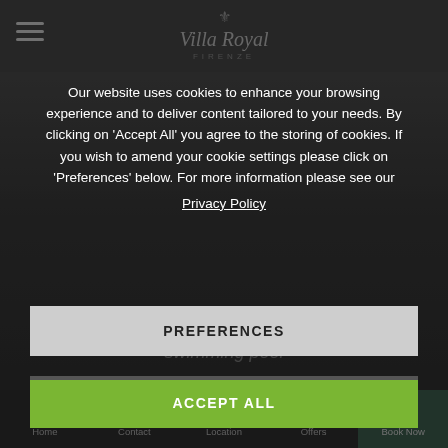[Figure (screenshot): Villa Royal Firenze hotel website screenshot with cookie consent overlay. Top bar has hamburger menu and stylized italic logo 'Villa Royal' with 'FIRENZE' subtitle. Background shows darkened hotel page with text 'Enjoy a drink in our wonderful outdoor swimming pool'. A cookie consent dialog overlays the page with text about cookies, a Privacy Policy link, a 'PREFERENCES' button in gray, and an 'ACCEPT ALL' button in green. Bottom navigation bar has five items: Home, Contact, Location, Offers, Book Now (highlighted in dark green).]
Our website uses cookies to enhance your browsing experience and to deliver content tailored to your needs. By clicking on 'Accept All' you agree to the storing of cookies. If you wish to amend your cookie settings please click on 'Preferences' below. For more information please see our Privacy Policy
Enjoy a drink in our wonderful outdoor swimming pool
PREFERENCES
ACCEPT ALL
Home  Contact  Location  Offers  Book Now